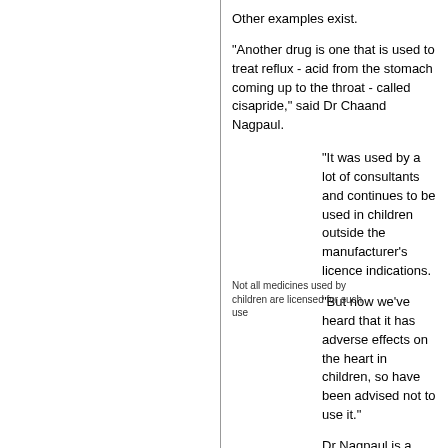Other examples exist.
"Another drug is one that is used to treat reflux - acid from the stomach coming up to the throat - called cisapride," said Dr Chaand Nagpaul.
"It was used by a lot of consultants and continues to be used in children outside the manufacturer's licence indications.
"But now we've heard that it has adverse effects on the heart in children, so have been advised not to use it."
Dr Nagpaul is a member of the British Medical Association's prescribing committee.
Not all medicines used by children are licensed for such use
He explained the dangers of using a drug outside its licence.
"It has not gone through all the hurdles of testing and safety and efficacy and correct dosage issues that have to be demonstrated before the drug can get a licence.